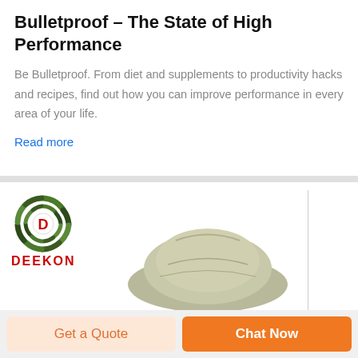Bulletproof – The State of High Performance
Be Bulletproof. From diet and supplements to productivity hacks and recipes, find out how you can improve performance in every area of your life.
Read more
[Figure (logo): DEEKON brand logo with circular camouflage-pattern target icon and red 'D' letter, with bold red text DEEKON below]
[Figure (photo): Close-up photo of an olive/tan military-style cap or helmet cover product]
Get a Quote
Chat Now